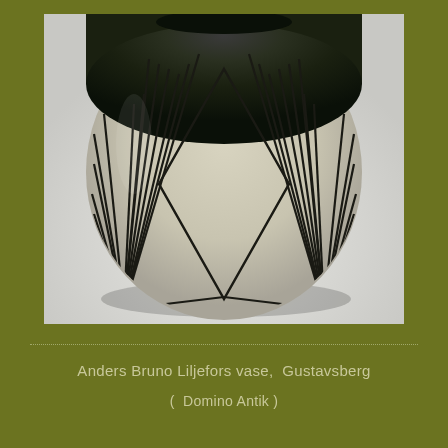[Figure (photo): A ceramic vase designed by Anders Bruno Liljefors for Gustavsberg. The vase is rounded with a dark greenish-black glazed top and a cream/beige lower body decorated with bold black hand-drawn geometric lines forming triangular/diamond shapes and radiating striped patterns. The vase is photographed on a light gray background with a soft shadow.]
Anders Bruno Liljefors vase,  Gustavsberg

(  Domino Antik )